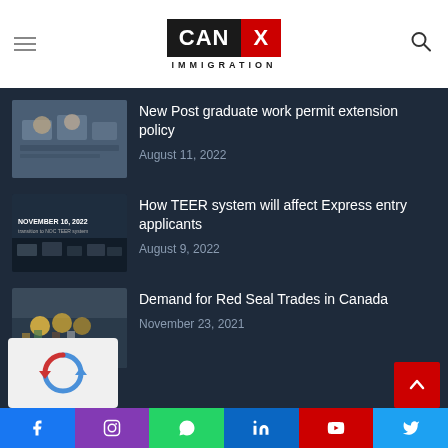CAN X IMMIGRATION
New Post graduate work permit extension policy
August 11, 2022
How TEER system will affect Express entry applicants
August 9, 2022
Demand for Red Seal Trades in Canada
November 23, 2021